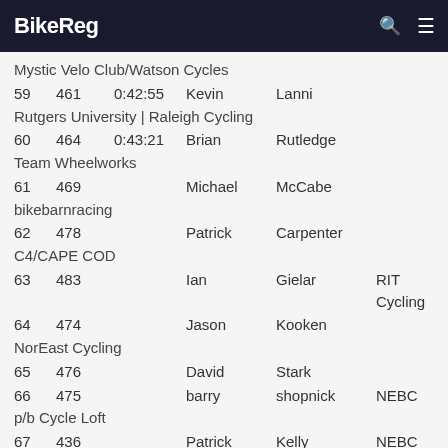BikeReg
Mystic Velo Club/Watson Cycles
59  461  0:42:55  Kevin  Lanni
Rutgers University | Raleigh Cycling
60  464  0:43:21  Brian  Rutledge
Team Wheelworks
61  469  Michael  McCabe
bikebarnracing
62  478  Patrick  Carpenter
C4/CAPE COD
63  483  Ian  Gielar  RIT Cycling
64  474  Jason  Kooken
NorEast Cycling
65  476  David  Stark
66  475  barry  shopnick  NEBC p/b Cycle Loft
67  436  Patrick  Kelly  NEBC